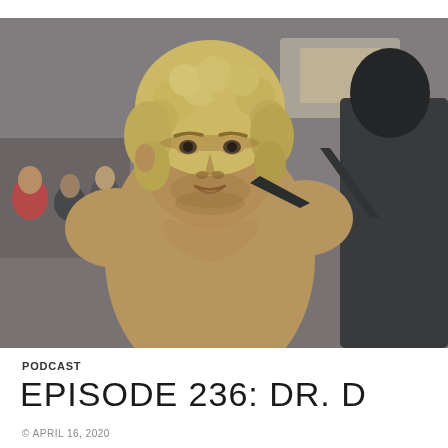[Figure (photo): Black and white / desaturated vintage photo of a large muscular man with curly blond hair, shirtless, looking intense, standing in what appears to be a wrestling arena with audience members visible in the background and another person with dark hair partially visible on the right.]
PODCAST
EPISODE 236: DR. D
© APRIL 16, 2020